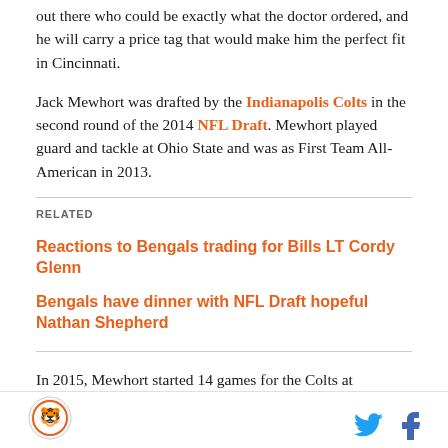out there who could be exactly what the doctor ordered, and he will carry a price tag that would make him the perfect fit in Cincinnati.
Jack Mewhort was drafted by the Indianapolis Colts in the second round of the 2014 NFL Draft. Mewhort played guard and tackle at Ohio State and was as First Team All-American in 2013.
RELATED
Reactions to Bengals trading for Bills LT Cordy Glenn
Bengals have dinner with NFL Draft hopeful Nathan Shepherd
In 2015, Mewhort started 14 games for the Colts at